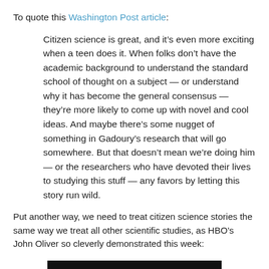To quote this Washington Post article:
Citizen science is great, and it’s even more exciting when a teen does it. When folks don’t have the academic background to understand the standard school of thought on a subject — or understand why it has become the general consensus — they’re more likely to come up with novel and cool ideas. And maybe there’s some nugget of something in Gadoury’s research that will go somewhere. But that doesn’t mean we’re doing him — or the researchers who have devoted their lives to studying this stuff — any favors by letting this story run wild.
Put another way, we need to treat citizen science stories the same way we treat all other scientific studies, as HBO’s John Oliver so cleverly demonstrated this week:
[Figure (other): Black video embed placeholder]